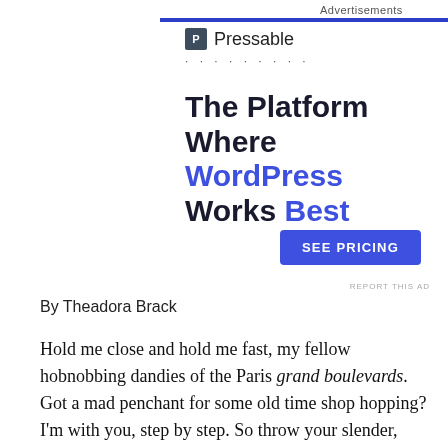Advertisements
[Figure (logo): Pressable logo with blue icon and dotted separator line]
The Platform Where WordPress Works Best
SEE PRICING
REPORT THIS AD
By Theadora Brack
Hold me close and hold me fast, my fellow hobnobbing dandies of the Paris grand boulevards. Got a mad penchant for some old time shop hopping? I'm with you, step by step. So throw your slender, opera-length gloved hands into the air! See you'll like some